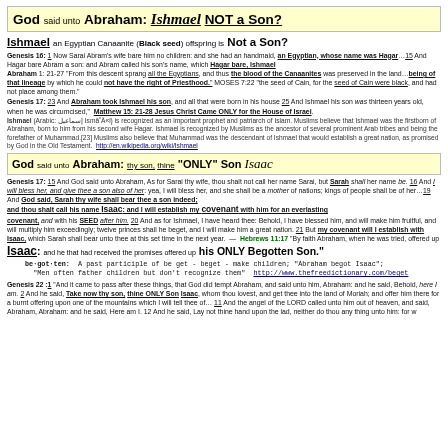God said unto Abraham: Ishmael NOT a Son?
Ishmael an Egyptian Canaanite (Black seed) offspring is Not a Son?
Genesis 16: 1 Now Sarai Abram's wife bare him no children: and she had an handmaid, an Egyptian, whose name was Hagar…15 And Hagar bare Abram a son: and Abram called his son's name, which Hagar bare, Ishmael Abraham 1: 21-27 "From this descent sprang all the Egyptians, and thus the blood of the Canaanites was preserved in the land…being of that lineage by which he could not have the right of Priesthood." MOSES 7:22 "the seed of Cain, for the seed of Cain were black, and had not place among them."
Genesis 17: 23 And Abraham took Ishmael his son, and all that were born in his house 25 And Ishmael his son was thirteen years old, when he was circumcised,  Matthew 15: 21-28 Jesus Christ Came ONLY for the House of Israel.
Ishmael (Arabic: إسماعيل IsmāʿÄ«l) is recognized as an important prophet and patriarch of Islam. Muslims believe that Ishmael was the firstborn of Abraham, born to him from his second wife Hagar. Ishmael is recognized by Muslims as the ancestor of several prominent Arab tribes and being the forefather of Muhammad.[23] Muslims also believe that Muhammad was the descendant of Ishmael that would establish a great nation, as promised by God in the Old Testament. http://en.wikipedia.org/wiki/Ishmael
God said unto Abraham: thy son, thine "ONLY" Son Isaac
Genesis 17: 15 And God said unto Abraham, As for Sarai thy wife, thou shalt not call her name Sarai, but Sarah shall her name be. 16 And I will bless her, and give thee a son also of her: yea, I will bless her, and she shall be a mother of nations; kings of people shall be of her…19 And God said, Sarah thy wife shall bear thee a son indeed; and thou shalt call his name Isaac: and I will establish my covenant with him for an everlasting covenant, and with his SEED after him. 20 And as for Ishmael, I have heard thee: Behold, I have blessed him, and will make him fruitful, and will multiply him exceedingly; twelve princes shall he beget, and I will make him a great nation. 21 But my covenant will I establish with Isaac, which Sarah shall bear unto thee at this set time in the next year.  —  Hebrews 11:17 "By faith Abraham, when he was tried, offered up
Isaac: and he that had received the promises offered up his ONLY Begotten Son."
be·got·ten: A past participle of be get - beget - make children; "Abraham begot Isaac"; "Men often father children but don't recognize them"  http://www.thefreedictionary.com/beget
Genesis 22 :1 "And it came to pass after these things, that God did tempt Abraham, and said unto him, Abraham: and he said, Behold, here I am. 2 And he said, Take now thy son, thine ONLY Son Isaac, whom thou lovest, and get thee into the land of Moriah; and offer him there for a burnt offering upon one of the mountains which I will tell thee of… 11 And the angel of the LORD called unto him out of heaven, and said, Abraham, Abraham: and he said, Here am I. 12 And he said, Lay not thine hand upon the lad, neither do thou any thing unto him: for w